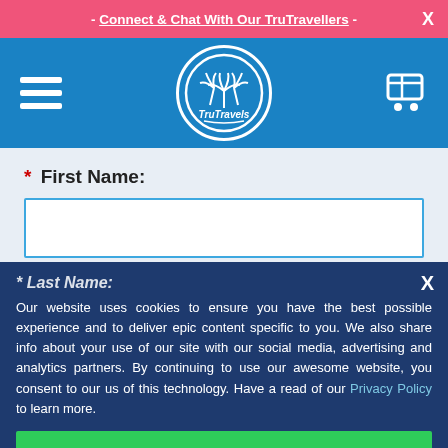- Connect & Chat With Our TruTravellers -
[Figure (logo): TruTravels circular logo with palm trees on blue navigation bar]
* First Name:
* Last Name:
Our website uses cookies to ensure you have the best possible experience and to deliver epic content specific to you. We also share info about your use of our site with our social media, advertising and analytics partners. By continuing to use our awesome website, you consent to our us of this technology. Have a read of our Privacy Policy to learn more.
ACCEPT